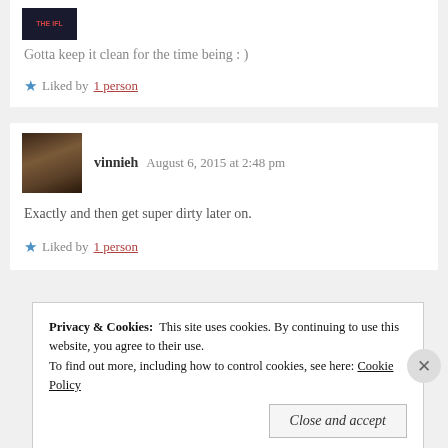Gotta keep it clean for the time being : )
Liked by 1 person
vinnieh   August 6, 2015 at 2:48 pm
Exactly and then get super dirty later on.
Liked by 1 person
Privacy & Cookies:  This site uses cookies. By continuing to use this website, you agree to their use.
To find out more, including how to control cookies, see here: Cookie Policy
Close and accept